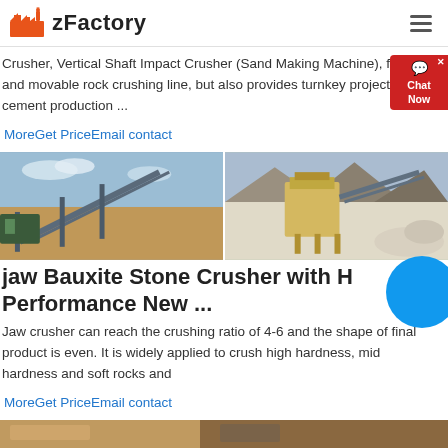zFactory
Crusher, Vertical Shaft Impact Crusher (Sand Making Machine), fixed and movable rock crushing line, but also provides turnkey project for cement production ...
MoreGet PriceEmail contact
[Figure (photo): Two side-by-side industrial stone crusher / mining plant photographs showing conveyor belts and crushing equipment.]
jaw Bauxite Stone Crusher with High Performance New ...
Jaw crusher can reach the crushing ratio of 4-6 and the shape of final product is even. It is widely applied to crush high hardness, mid hardness and soft rocks and
MoreGet PriceEmail contact
[Figure (photo): Bottom strip showing partial view of industrial equipment photo.]